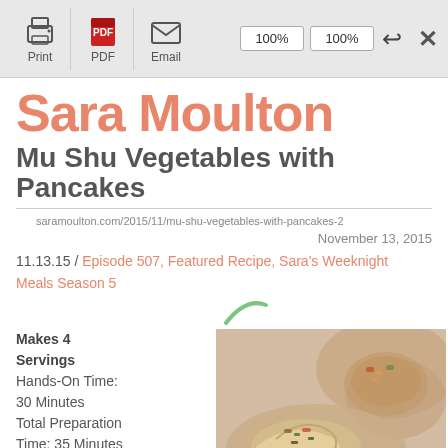Print | PDF | Email | 100% | 100% | ↩ | ×
Sara Moulton
Mu Shu Vegetables with Pancakes
saramoulton.com/2015/11/mu-shu-vegetables-with-pancakes-2
November 13, 2015
11.13.15 / Episode 507, Featured Recipe, Sara's Weeknight Meals Season 5
Makes 4 Servings
Hands-On Time: 30 Minutes
Total Preparation Time: 35 Minutes
[Figure (photo): Photo of Mu Shu Vegetables with Pancakes dish, showing folded pancakes with vegetable filling on a plate, warm tones, blurred background]
Ingredi...